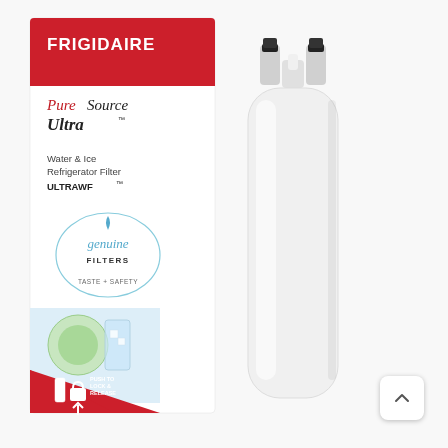[Figure (photo): Frigidaire PureSource Ultra Water & Ice Refrigerator Filter ULTRAWF product shot showing the retail box (white with red accents, featuring the Frigidaire logo, PureSource Ultra branding, 'genuine filters TASTE + SAFETY' badge, and a lime/water glass lifestyle image with 'PUSH TO LOCK & RELEASE' icon at the bottom) alongside the standalone white cylindrical filter cartridge with two black-tipped inlet/outlet ports at the top.]